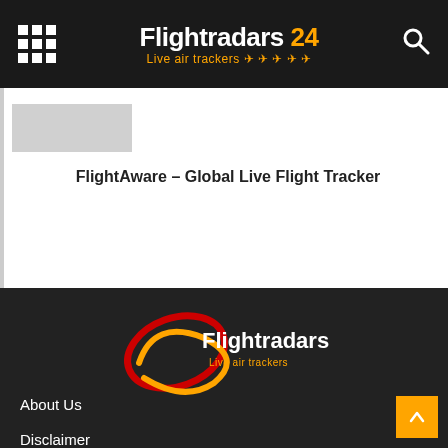Flightradars 24 Live air trackers
[Figure (illustration): Thumbnail/preview image placeholder (gray box)]
FlightAware – Global Live Flight Tracker
[Figure (logo): Flightradars 24 Live air trackers footer logo with red and yellow swirl graphic]
About Us
Disclaimer